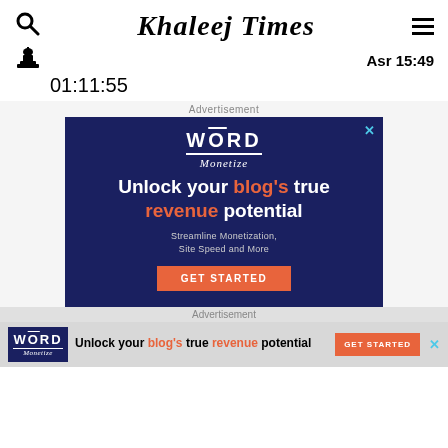Khaleej Times
Asr 15:49
01:11:55
Advertisement
[Figure (screenshot): Word Monetize ad: Unlock your blog's true revenue potential. Streamline Monetization, Site Speed and More. GET STARTED button.]
Advertisement
[Figure (screenshot): Word Monetize banner ad: Unlock your blog's true revenue potential. GET STARTED button.]